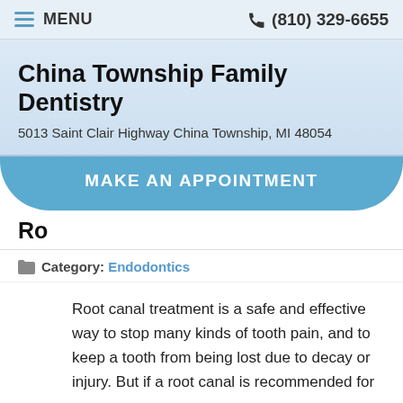MENU  (810) 329-6655
China Township Family Dentistry
5013 Saint Clair Highway China Township, MI 48054
MAKE AN APPOINTMENT
Ro
Category: Endodontics
Root canal treatment is a safe and effective way to stop many kinds of tooth pain, and to keep a tooth from being lost due to decay or injury. But if a root canal is recommended for